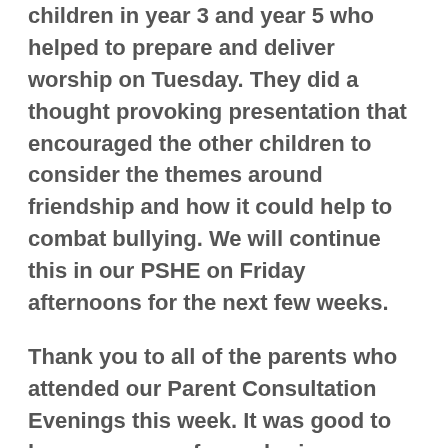children in year 3 and year 5 who helped to prepare and deliver worship on Tuesday. They did a thought provoking presentation that encouraged the other children to consider the themes around friendship and how it could help to combat bullying. We will continue this in our PSHE on Friday afternoons for the next few weeks.
Thank you to all of the parents who attended our Parent Consultation Evenings this week. It was good to have so many of you sharing your child's learning with the teachers. If you were unable to attend and have not met with your child's teacher or you have further questions about your child's progress, please contact the school office or the teacher directly to arrange an appointment.
This Friday was the first opportunity for the children in Key Stage 2 to attend the Homework Club we are